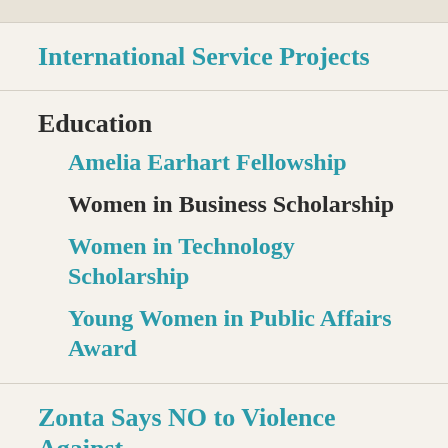International Service Projects
Education
Amelia Earhart Fellowship
Women in Business Scholarship
Women in Technology Scholarship
Young Women in Public Affairs Award
Zonta Says NO to Violence Against Women